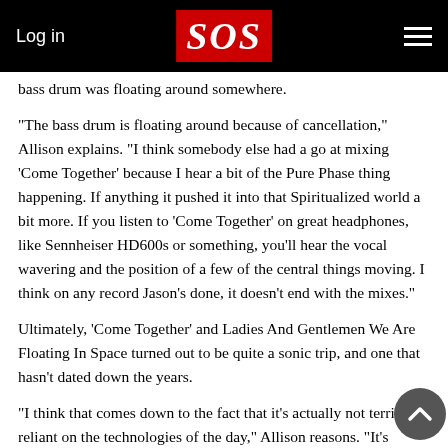Log in | SOS | menu
bass drum was floating around somewhere.
“The bass drum is floating around because of cancellation,” Allison explains. “I think somebody else had a go at mixing ‘Come Together’ because I hear a bit of the Pure Phase thing happening. If anything it pushed it into that Spiritualized world a bit more. If you listen to ‘Come Together’ on great headphones, like Sennheiser HD600s or something, you’ll hear the vocal wavering and the position of a few of the central things moving. I think on any record Jason’s done, it doesn’t end with the mixes.”
Ultimately, ‘Come Together’ and Ladies And Gentlemen We Are Floating In Space turned out to be quite a sonic trip, and one that hasn’t dated down the years.
“I think that comes down to the fact that it’s actually not terribly reliant on the technologies of the day,” Allison reasons. “It’s harnessing a lot of the natural stuff. It did employ sampling, it employed a lot of cutting up. But it wasn’t all triggered snares and kicks and autotuned.”
“We didn’t just write a song and go in the studio and that was